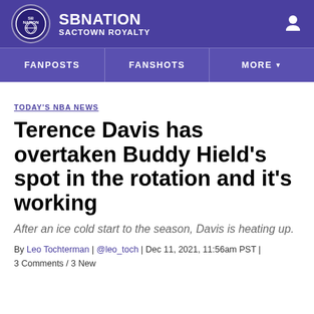SB NATION SACTOWN ROYALTY
FANPOSTS | FANSHOTS | MORE
TODAY'S NBA NEWS
Terence Davis has overtaken Buddy Hield's spot in the rotation and it's working
After an ice cold start to the season, Davis is heating up.
By Leo Tochterman | @leo_toch | Dec 11, 2021, 11:56am PST | 3 Comments / 3 New